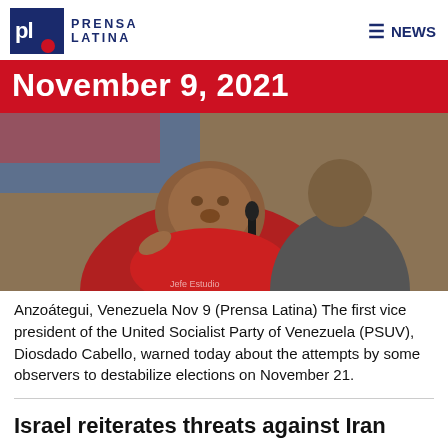Prensa Latina — NEWS
November 9, 2021
[Figure (photo): Diosdado Cabello, first vice president of PSUV, speaking into a microphone and pointing, wearing a red shirt, with supporters in background holding a Venezuelan flag.]
Anzoátegui, Venezuela Nov 9 (Prensa Latina) The first vice president of the United Socialist Party of Venezuela (PSUV), Diosdado Cabello, warned today about the attempts by some observers to destabilize elections on November 21.
Israel reiterates threats against Iran